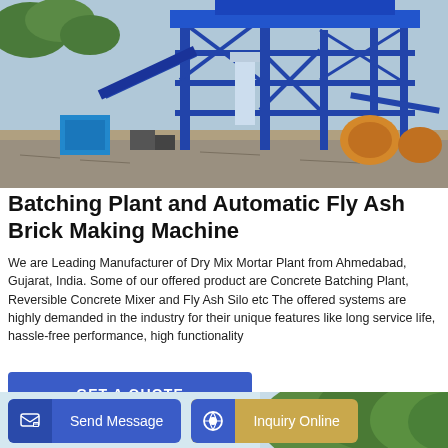[Figure (photo): A large blue steel concrete batching plant / mixing tower on a construction site with gravel ground, yellow mixer trucks and construction equipment visible in the background under a cloudy sky.]
Batching Plant and Automatic Fly Ash Brick Making Machine
We are Leading Manufacturer of Dry Mix Mortar Plant from Ahmedabad, Gujarat, India. Some of our offered product are Concrete Batching Plant, Reversible Concrete Mixer and Fly Ash Silo etc The offered systems are highly demanded in the industry for their unique features like long service life, hassle-free performance, high functionality
GET A QUOTE
[Figure (photo): Partial view of a second product image showing trees against a light blue sky, visible at the bottom of the page.]
Send Message
Inquiry Online